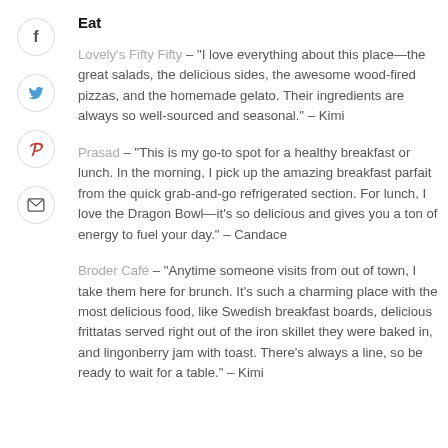Eat
Lovely's Fifty Fifty – "I love everything about this place—the great salads, the delicious sides, the awesome wood-fired pizzas, and the homemade gelato. Their ingredients are always so well-sourced and seasonal." – Kimi
Prasad – "This is my go-to spot for a healthy breakfast or lunch. In the morning, I pick up the amazing breakfast parfait from the quick grab-and-go refrigerated section. For lunch, I love the Dragon Bowl—it's so delicious and gives you a ton of energy to fuel your day." – Candace
Broder Café – "Anytime someone visits from out of town, I take them here for brunch. It's such a charming place with the most delicious food, like Swedish breakfast boards, delicious frittatas served right out of the iron skillet they were baked in, and lingonberry jam with toast. There's always a line, so be ready to wait for a table." – Kimi